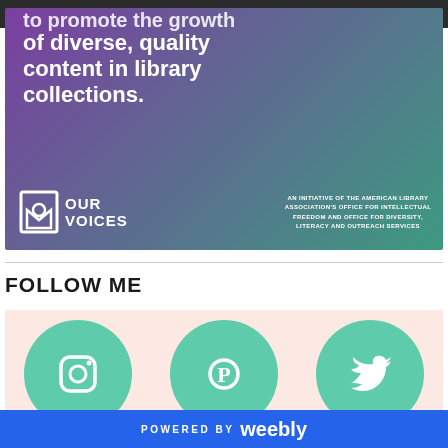[Figure (illustration): Our Voices banner with gradient background from purple to teal. Text reads 'to promote the growth of diverse, quality content in library collections.' with Our Voices logo and initiative credit text for American Library Association's Office for Intellectual Freedom and Office for Diversity, Literacy and Outreach Services.]
FOLLOW ME
[Figure (illustration): Three social media icons (Instagram, Pinterest, Twitter) as teal circles on a light pink/peach background.]
POWERED BY weebly